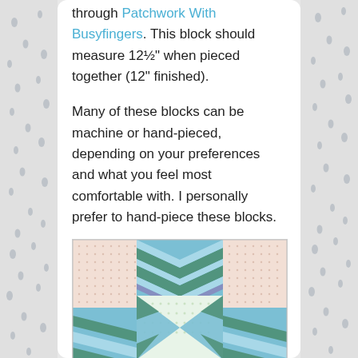through Patchwork With Busyfingers. This block should measure 12½" when pieced together (12" finished).
Many of these blocks can be machine or hand-pieced, depending on your preferences and what you feel most comfortable with. I personally prefer to hand-piece these blocks.
[Figure (photo): A partially assembled quilt block showing chevron/zigzag patterned fabric in teal, green and blue, dotted fabric in pink/cream, and a red circular element, arranged in a star-like pattern on a white background.]